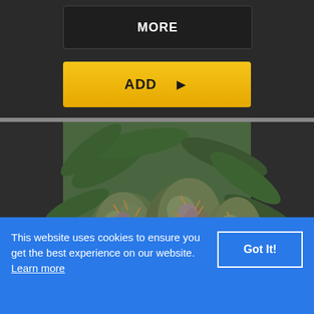MORE
ADD ▶
[Figure (photo): Close-up photograph of cannabis buds/flowers with green leaves in background]
This website uses cookies to ensure you get the best experience on our website. Learn more
Got It!